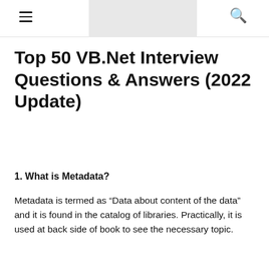[navigation bar with hamburger menu, logo area, and search icon]
Top 50 VB.Net Interview Questions & Answers (2022 Update)
1. What is Metadata?
Metadata is termed as “Data about content of the data” and it is found in the catalog of libraries. Practically, it is used at back side of book to see the necessary topic.